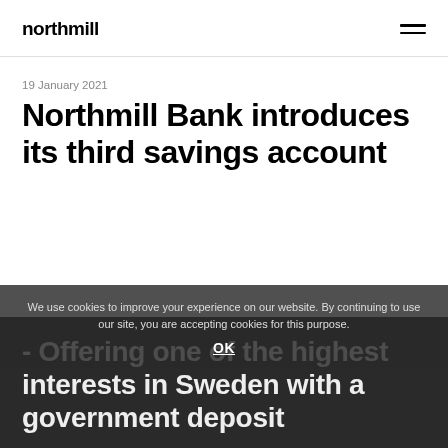northmill
19 January 2021
Northmill Bank introduces its third savings account
We use cookies to improve your experience on our website. By continuing to use our site, you are accepting cookies for this purpose.
OK
- Offering one of the highest interests in Sweden with a government deposit